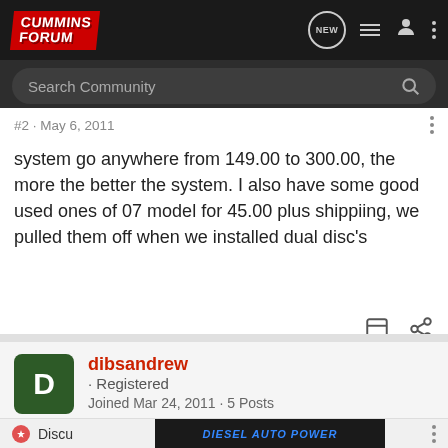[Figure (screenshot): Cummins Forum website header with logo, navigation icons (NEW, list, user, dots), and search bar]
#2 · May 6, 2011
system go anywhere from 149.00 to 300.00, the more the better the system. I also have some good used ones of 07 model for 45.00 plus shippiing, we pulled them off when we installed dual disc's
dibsandrew · Registered
Joined Mar 24, 2011 · 5 Posts
[Figure (screenshot): Diesel Auto Power .com advertisement banner with blue metallic text on dark background]